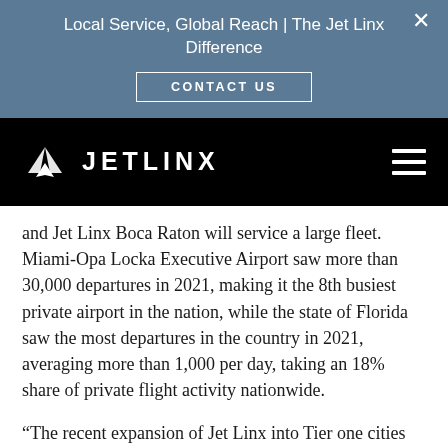Local Service, Global Reach | The Jet Linx Difference
CONTACT US
[Figure (logo): Jet Linx logo with stylized airplane icon and wordmark JETLINX on black navigation bar]
and Jet Linx Boca Raton will service a large fleet. Miami-Opa Locka Executive Airport saw more than 30,000 departures in 2021, making it the 8th busiest private airport in the nation, while the state of Florida saw the most departures in the country in 2021, averaging more than 1,000 per day, taking an 18% share of private flight activity nationwide.
“The recent expansion of Jet Linx into Tier one cities including New York, Chicago and now